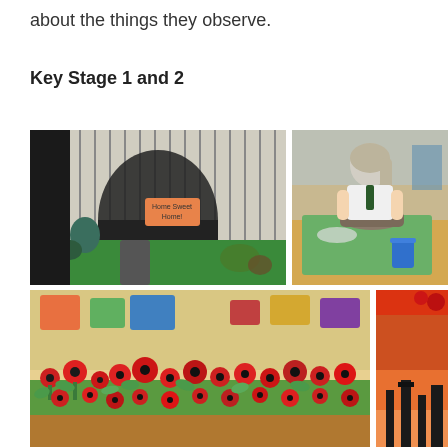about the things they observe.
Key Stage 1 and 2
[Figure (photo): A diorama model of a house labelled 'Home Sweet Home!' with a striped roof, garden path, decorative plants and green grass base]
[Figure (photo): A schoolgirl in uniform working with clay at a desk, placing red clay pieces into a bowl, with a blue cup nearby]
[Figure (photo): A classroom display with many red poppy flowers made from paper/craft materials arranged along a green base on a long table]
[Figure (photo): Partial image of what appears to be an outdoor scene with orange/red sky at dusk or sunset with silhouetted structures]